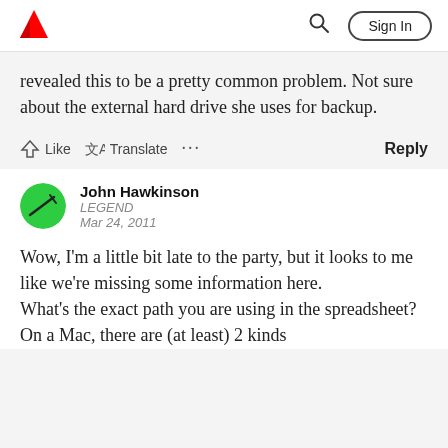Adobe | Search | Sign In
revealed this to be a pretty common problem. Not sure about the external hard drive she uses for backup.
Like  Translate  ...  Reply
John Hawkinson
LEGEND
Mar 24, 2011
Wow, I'm a little bit late to the party, but it looks to me like we're missing some information here.
What's the exact path you are using in the spreadsheet?
On a Mac, there are (at least) 2 kinds